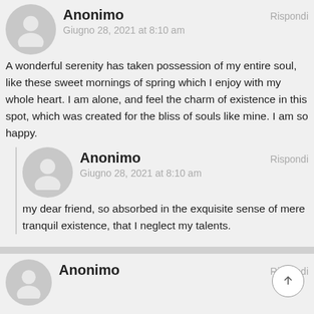Anonimo
Rispondi
Giugno 28, 2021 at 8:10 am
A wonderful serenity has taken possession of my entire soul, like these sweet mornings of spring which I enjoy with my whole heart. I am alone, and feel the charm of existence in this spot, which was created for the bliss of souls like mine. I am so happy.
Anonimo
Rispondi
Giugno 28, 2021 at 8:10 am
my dear friend, so absorbed in the exquisite sense of mere tranquil existence, that I neglect my talents.
Anonimo
Rispondi